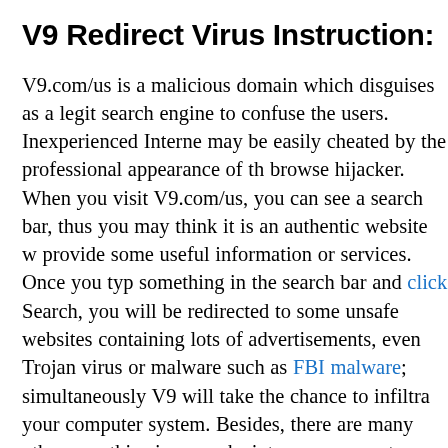V9 Redirect Virus Instruction:
V9.com/us is a malicious domain which disguises as a legit search engine to confuse the users. Inexperienced Internet may be easily cheated by the professional appearance of the browse hijacker. When you visit V9.com/us, you can see a search bar, thus you may think it is an authentic website w provide some useful information or services. Once you type something in the search bar and click Search, you will be redirected to some unsafe websites containing lots of advertisements, even Trojan virus or malware such as FBI malware; simultaneously V9 will take the chance to infiltrate your computer system. Besides, there are many other ways this virus sneaks into your computer. Taking the advantage existing system security defect and distribution via some free software or attachments of spam e-mails are the most com
After finishing its installation, this stubborn virus will take a